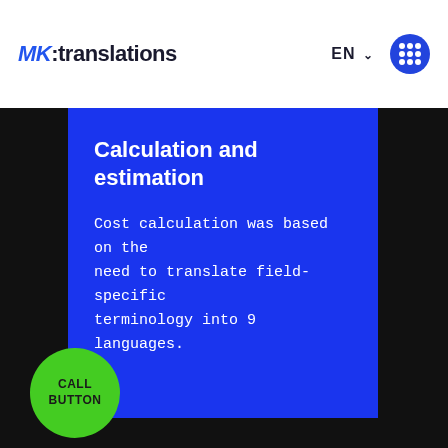[Figure (logo): MK:translations logo with blue italic MK and dark bold text ':translations']
EN
Calculation and estimation
Cost calculation was based on the need to translate field-specific terminology into 9 languages.
[Figure (other): Green circular CALL BUTTON badge]